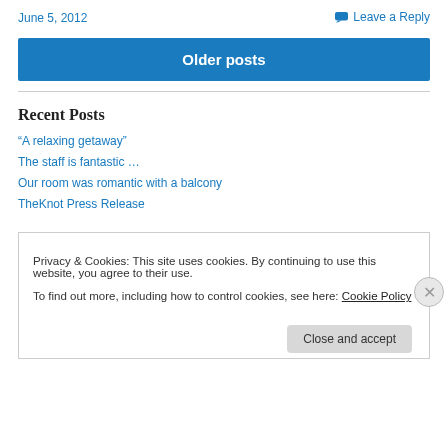June 5, 2012
Leave a Reply
Older posts
Recent Posts
“A relaxing getaway”
The staff is fantastic …
Our room was romantic with a balcony
TheKnot Press Release
Privacy & Cookies: This site uses cookies. By continuing to use this website, you agree to their use.
To find out more, including how to control cookies, see here: Cookie Policy
Close and accept